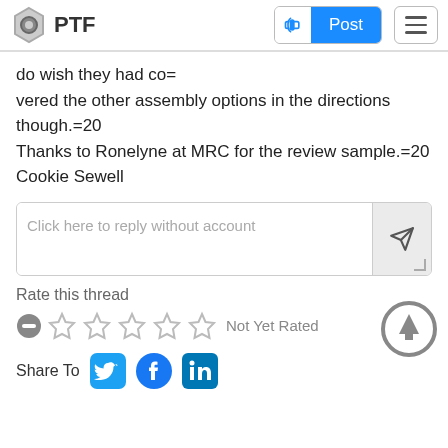PTF | Post
do wish they had co=
vered the other assembly options in the directions though.=20
Thanks to Ronelyne at MRC for the review sample.=20
Cookie Sewell
[Figure (screenshot): Reply input box with placeholder 'Click here to reply without account' and send button]
[Figure (infographic): Rate this thread section with minus button, 5 empty stars, and 'Not Yet Rated' label]
[Figure (infographic): Share To section with Twitter, Facebook, and LinkedIn icons]